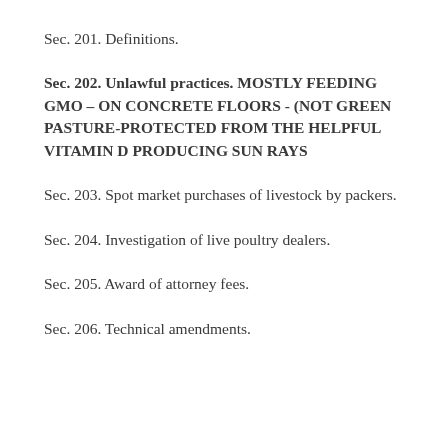Sec. 201. Definitions.
Sec. 202. Unlawful practices. MOSTLY FEEDING GMO – ON CONCRETE FLOORS - (NOT GREEN PASTURE-PROTECTED FROM THE HELPFUL VITAMIN D PRODUCING SUN RAYS
Sec. 203. Spot market purchases of livestock by packers.
Sec. 204. Investigation of live poultry dealers.
Sec. 205. Award of attorney fees.
Sec. 206. Technical amendments.